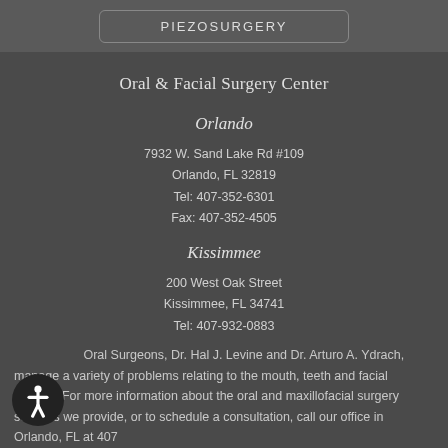PIEZOSURGERY
Oral & Facial Surgery Center
Orlando
7932 W. Sand Lake Rd #109
Orlando, FL 32819
Tel: 407-352-6301
Fax: 407-352-4505
Kissimmee
200 West Oak Street
Kissimmee, FL 34741
Tel: 407-932-0883
Fax: 407-932-4251
Oral Surgeons, Dr. Hal J. Levine and Dr. Arturo A. Ydrach, manage a variety of problems relating to the mouth, teeth and facial regions. For more information about the oral and maxillofacial surgery services we provide, or to schedule a consultation, call our office in Orlando, FL at 407